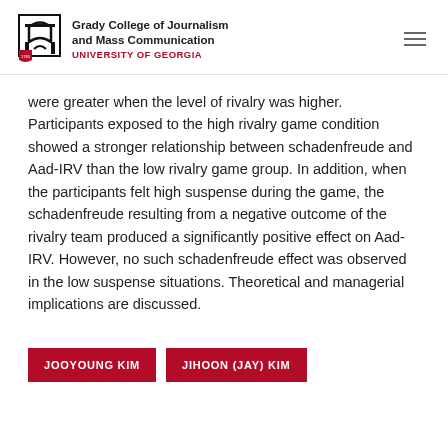Grady College of Journalism and Mass Communication — UNIVERSITY OF GEORGIA
were greater when the level of rivalry was higher. Participants exposed to the high rivalry game condition showed a stronger relationship between schadenfreude and Aad-IRV than the low rivalry game group. In addition, when the participants felt high suspense during the game, the schadenfreude resulting from a negative outcome of the rivalry team produced a significantly positive effect on Aad-IRV. However, no such schadenfreude effect was observed in the low suspense situations. Theoretical and managerial implications are discussed.
JOOYOUNG KIM
JIHOON (JAY) KIM